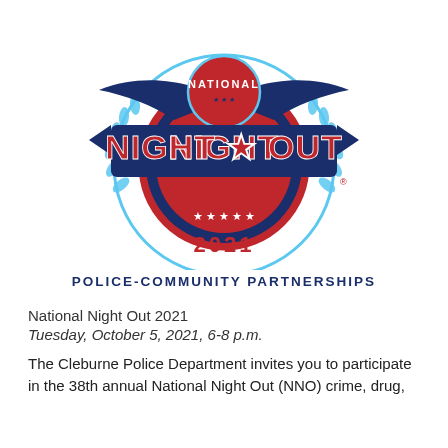[Figure (logo): National Night Out 2021 logo with eagle, red circle, dark blue banner reading NIGHT OUT, light blue laurel wreath, and text POLICE-COMMUNITY PARTNERSHIPS]
National Night Out 2021
Tuesday, October 5, 2021, 6-8 p.m.
The Cleburne Police Department invites you to participate in the 38th annual National Night Out (NNO) crime, drug,